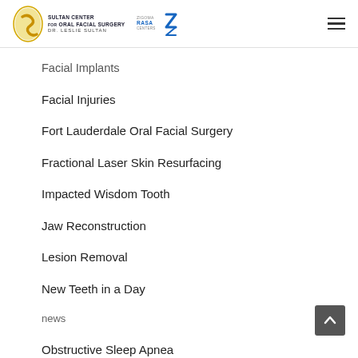Sultan Center for Oral Facial Surgery - Dr. Leslie Sultan | Zigoma Rasa Centers
Facial Implants
Facial Injuries
Fort Lauderdale Oral Facial Surgery
Fractional Laser Skin Resurfacing
Impacted Wisdom Tooth
Jaw Reconstruction
Lesion Removal
New Teeth in a Day
news
Obstructive Sleep Apnea
Oral Cancer